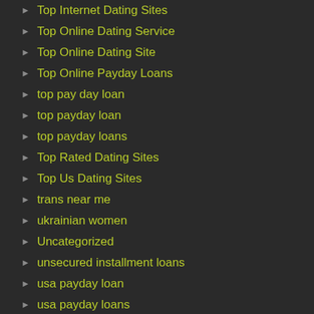Top Internet Dating Sites
Top Online Dating Service
Top Online Dating Site
Top Online Payday Loans
top pay day loan
top payday loan
top payday loans
Top Rated Dating Sites
Top Us Dating Sites
trans near me
ukrainian women
Uncategorized
unsecured installment loans
usa payday loan
usa payday loans